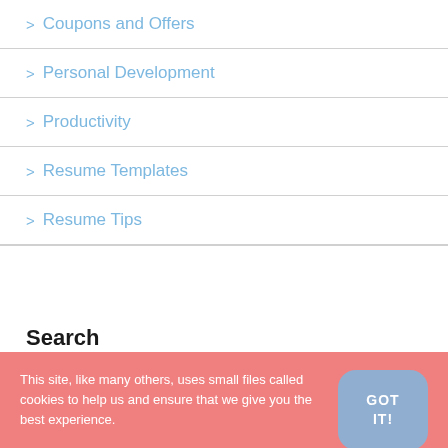> Coupons and Offers
> Personal Development
> Productivity
> Resume Templates
> Resume Tips
Search
This site, like many others, uses small files called cookies to help us and ensure that we give you the best experience.